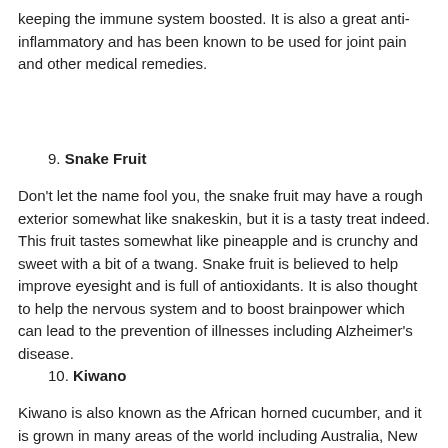keeping the immune system boosted. It is also a great anti-inflammatory and has been known to be used for joint pain and other medical remedies.
9. Snake Fruit
Don't let the name fool you, the snake fruit may have a rough exterior somewhat like snakeskin, but it is a tasty treat indeed. This fruit tastes somewhat like pineapple and is crunchy and sweet with a bit of a twang. Snake fruit is believed to help improve eyesight and is full of antioxidants. It is also thought to help the nervous system and to boost brainpower which can lead to the prevention of illnesses including Alzheimer's disease.
10. Kiwano
Kiwano is also known as the African horned cucumber, and it is grown in many areas of the world including Australia, New Zealand and of course, South Africa.